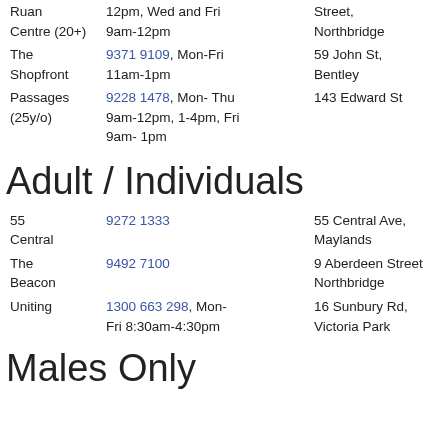| Name | Contact / Hours | Address |
| --- | --- | --- |
| Ruan Centre (20+) | 12pm, Wed and Fri 9am-12pm | Street, Northbridge |
| The Shopfront | 9371 9109, Mon-Fri 11am-1pm | 59 John St, Bentley |
| Passages (25y/o) | 9228 1478, Mon- Thu 9am-12pm, 1-4pm, Fri 9am- 1pm | 143 Edward St |
Adult / Individuals
| Name | Contact / Hours | Address |
| --- | --- | --- |
| 55 Central | 9272 1333 | 55 Central Ave, Maylands |
| The Beacon | 9492 7100 | 9 Aberdeen Street Northbridge |
| Uniting | 1300 663 298, Mon-Fri 8:30am-4:30pm | 16 Sunbury Rd, Victoria Park |
Males Only